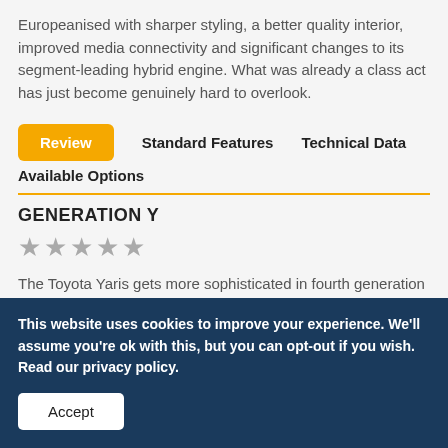Europeanised with sharper styling, a better quality interior, improved media connectivity and significant changes to its segment-leading hybrid engine. What was already a class act has just become genuinely hard to overlook.
Review
Standard Features
Technical Data
Available Options
GENERATION Y
★★★★★
The Toyota Yaris gets more sophisticated in fourth generation form – and features a superior self-charging
This website uses cookies to improve your experience. We'll assume you're ok with this, but you can opt-out if you wish. Read our privacy policy.
Accept